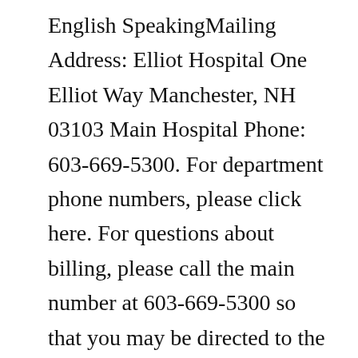English SpeakingMailing Address: Elliot Hospital One Elliot Way Manchester, NH 03103 Main Hospital Phone: 603-669-5300. For department phone numbers, please click here. For questions about billing, please call the main number at 603-669-5300 so that you may be directed to the appropriate billing representative.Free WiFi. 9.2. +45 photos. Located in Minneapolis, a 14-minute walk from U.S. Bank Stadium, Elliot Park Hotel, Autograph Collection